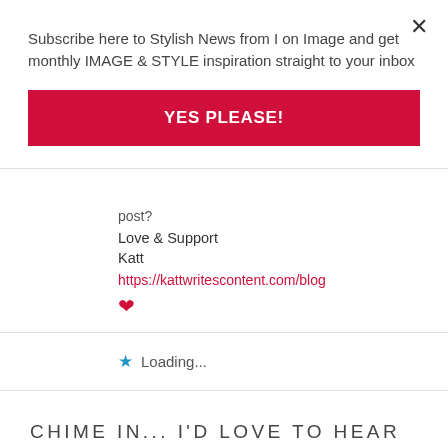Subscribe here to Stylish News from I on Image and get monthly IMAGE & STYLE inspiration straight to your inbox
YES PLEASE!
post?
Love & Support
Katt
https://kattwritescontent.com/blog
♥
Loading...
CHIME IN... I'D LOVE TO HEAR WHAT YOU HAVE TO SAY!